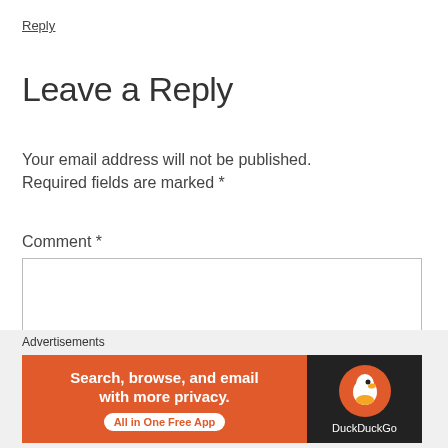Reply
Leave a Reply
Your email address will not be published. Required fields are marked *
Comment *
[Figure (other): Empty comment text area input box with border]
Advertisements
[Figure (other): DuckDuckGo advertisement banner: orange left section reading 'Search, browse, and email with more privacy. All in One Free App' with white button, dark right section with DuckDuckGo duck logo]